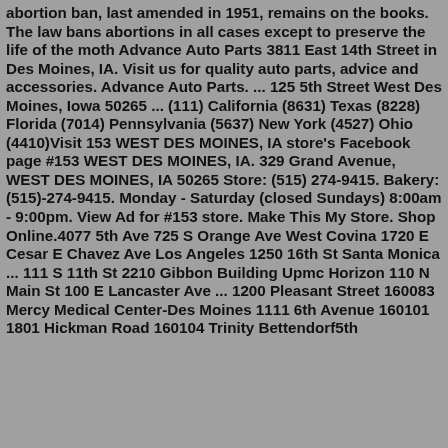abortion ban, last amended in 1951, remains on the books. The law bans abortions in all cases except to preserve the life of the moth Advance Auto Parts 3811 East 14th Street in Des Moines, IA. Visit us for quality auto parts, advice and accessories. Advance Auto Parts. ... 125 5th Street West Des Moines, Iowa 50265 ... (111) California (8631) Texas (8228) Florida (7014) Pennsylvania (5637) New York (4527) Ohio (4410)Visit 153 WEST DES MOINES, IA store's Facebook page #153 WEST DES MOINES, IA. 329 Grand Avenue, WEST DES MOINES, IA 50265 Store: (515) 274-9415. Bakery: (515)-274-9415. Monday - Saturday (closed Sundays) 8:00am - 9:00pm. View Ad for #153 store. Make This My Store. Shop Online.4077 5th Ave 725 S Orange Ave West Covina 1720 E Cesar E Chavez Ave Los Angeles 1250 16th St Santa Monica ... 111 S 11th St 2210 Gibbon Building Upmc Horizon 110 N Main St 100 E Lancaster Ave ... 1200 Pleasant Street 160083 Mercy Medical Center-Des Moines 1111 6th Avenue 160101 1801 Hickman Road 160104 Trinity Bettendorf5th